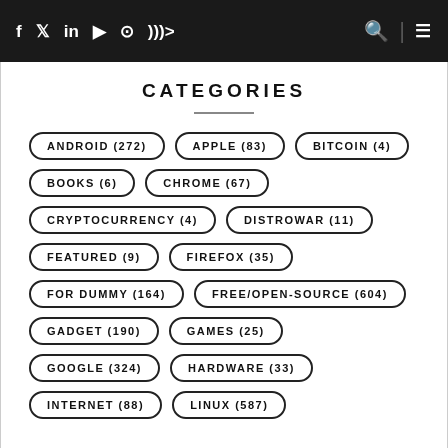Social nav icons: Facebook, Twitter, LinkedIn, YouTube, Instagram, RSS | Search | Menu
CATEGORIES
ANDROID (272)
APPLE (83)
BITCOIN (4)
BOOKS (6)
CHROME (67)
CRYPTOCURRENCY (4)
DISTROWAR (11)
FEATURED (9)
FIREFOX (35)
FOR DUMMY (164)
FREE/OPEN-SOURCE (604)
GADGET (190)
GAMES (25)
GOOGLE (324)
HARDWARE (33)
INTERNET (88)
LINUX (587)